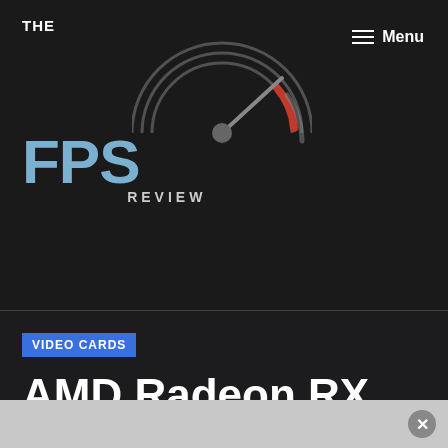[Figure (logo): The FPS Review logo with speedometer graphic]
Menu
VIDEO CARDS
AMD Radeon RX 5500 GPU Series Announcement
by Brent Justice
October 7, 2019